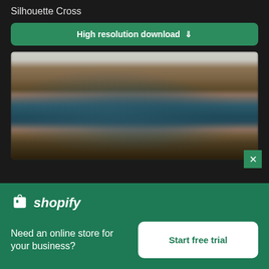Silhouette Cross
High resolution download ↓
[Figure (photo): Blurred aerial photograph showing a coastal or river landscape with brown/tan land and dark teal water, viewed from above]
[Figure (logo): Shopify logo with shopping bag icon and italic 'shopify' text in white on green background]
Need an online store for your business?
Start free trial